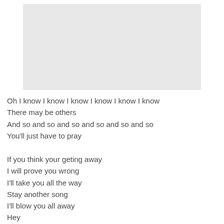[Figure (other): Gray rectangular placeholder image at top of page]
Oh I know I know I know I know I know I know
There may be others
And so and so and so and so and so and so
You'll just have to pray
If you think your geting away
I will prove you wrong
I'll take you all the way
Stay another song
I'll blow you all away
Hey